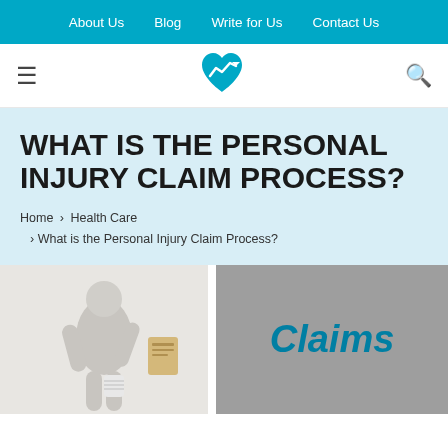About Us  Blog  Write for Us  Contact Us
[Figure (logo): Health/finance heart logo with upward arrow chart icon in teal/blue]
WHAT IS THE PERSONAL INJURY CLAIM PROCESS?
Home > Health Care > What is the Personal Injury Claim Process?
[Figure (photo): 3D render of a grey humanoid figure with a leg cast/bandage holding a document or clipboard]
[Figure (other): Grey banner with the word 'Claims' in large teal italic text]